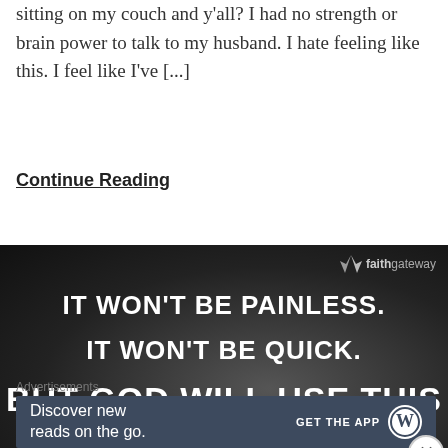sitting on my couch and y'all? I had no strength or brain power to talk to my husband. I hate feeling like this. I feel like I've [...]
Continue Reading
[Figure (photo): Dark inspirational image with text: IT WON'T BE PAINLESS. IT WON'T BE QUICK. BUT GOD WILL USE THIS. FaithGateway logo in top right corner.]
Advertisements
Discover new reads on the go. GET THE APP